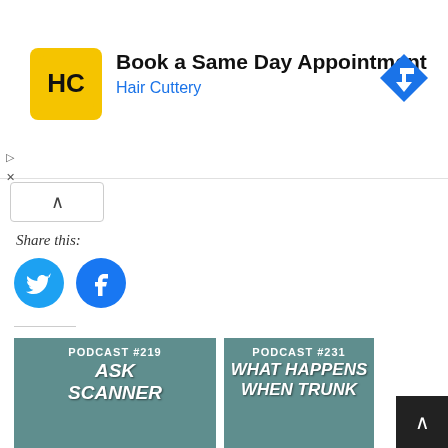[Figure (screenshot): Hair Cuttery advertisement banner with yellow logo, 'Book a Same Day Appointment' heading, 'Hair Cuttery' subtitle in blue, and blue navigation arrow icon]
[Figure (screenshot): Share this section with chevron up button, 'Share this:' label in italic, Twitter and Facebook social media circle buttons]
Share this:
[Figure (screenshot): Twitter and Facebook share buttons as blue circles with icons]
Like this:
Loading...
Related
[Figure (screenshot): Podcast #219 Ask Scanner thumbnail card with teal background]
[Figure (screenshot): Podcast #231 What Happens When Trunk thumbnail card with teal background]